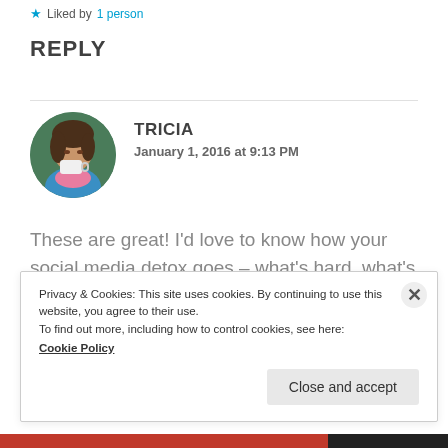Liked by 1 person
REPLY
[Figure (photo): Circular avatar photo of a woman with brown hair drinking from a white cup, wearing a blue and pink outfit.]
TRICIA
January 1, 2016 at 9:13 PM
These are great! I'd love to know how your social media detox goes – what's hard, what's great. Is the plan to always take off the
Privacy & Cookies: This site uses cookies. By continuing to use this website, you agree to their use.
To find out more, including how to control cookies, see here:
Cookie Policy
Close and accept